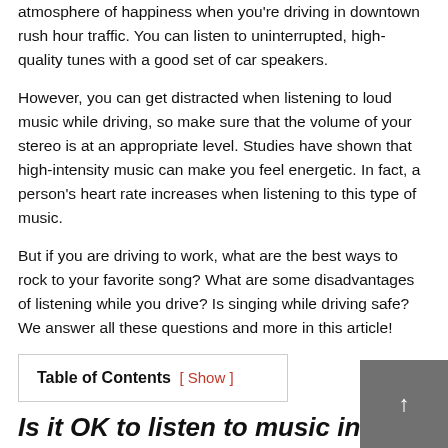atmosphere of happiness when you're driving in downtown rush hour traffic. You can listen to uninterrupted, high-quality tunes with a good set of car speakers.
However, you can get distracted when listening to loud music while driving, so make sure that the volume of your stereo is at an appropriate level. Studies have shown that high-intensity music can make you feel energetic. In fact, a person's heart rate increases when listening to this type of music.
But if you are driving to work, what are the best ways to rock to your favorite song? What are some disadvantages of listening while you drive? Is singing while driving safe? We answer all these questions and more in this article!
Table of Contents [ Show ]
Is it OK to listen to music in your car?